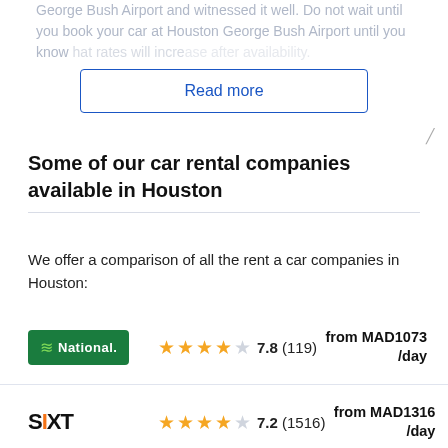George Bush Airport and witnessed it well. Do not wait until you book your car at Houston George Bush Airport until you know that rates will increase after availability.
Read more
Some of our car rental companies available in Houston
We offer a comparison of all the rent a car companies in Houston:
National — 7.8 (119) — from MAD1073 /day
Sixt — 7.2 (1516) — from MAD1316 /day
Budget — 7.7 (121) — from MAD1137 /day